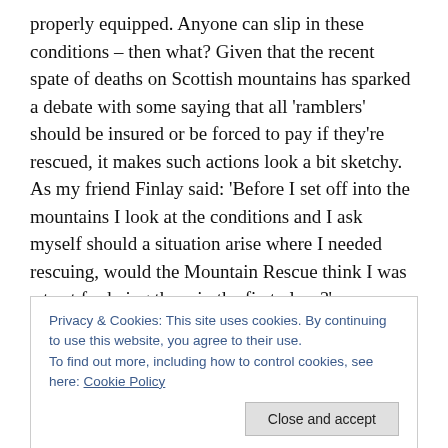properly equipped. Anyone can slip in these conditions – then what? Given that the recent spate of deaths on Scottish mountains has sparked a debate with some saying that all 'ramblers' should be insured or be forced to pay if they're rescued, it makes such actions look a bit sketchy. As my friend Finlay said: 'Before I set off into the mountains I look at the conditions and I ask myself should a situation arise where I needed rescuing, would the Mountain Rescue think I was a twat for being there in the first place?'
Privacy & Cookies: This site uses cookies. By continuing to use this website, you agree to their use. To find out more, including how to control cookies, see here: Cookie Policy
intelligent young people, but if they'd been from a different